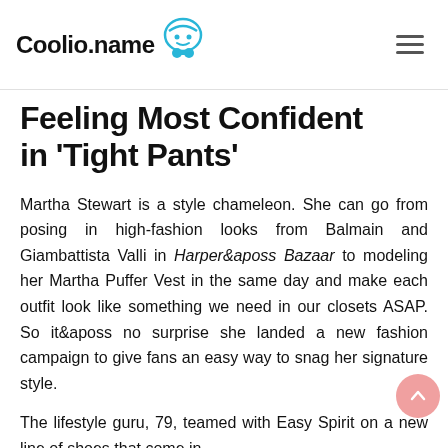Coolio.name
Feeling Most Confident in 'Tight Pants'
Martha Stewart is a style chameleon. She can go from posing in high-fashion looks from Balmain and Giambattista Valli in Harper&aposs Bazaar to modeling her Martha Puffer Vest in the same day and make each outfit look like something we need in our closets ASAP. So it&aposs no surprise she landed a new fashion campaign to give fans an easy way to snag her signature style.
The lifestyle guru, 79, teamed with Easy Spirit on a new line of shoes that come in